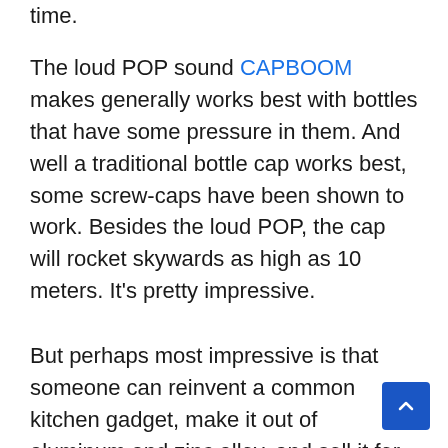time.
The loud POP sound CAPBOOM makes generally works best with bottles that have some pressure in them. And well a traditional bottle cap works best, some screw-caps have been shown to work. Besides the loud POP, the cap will rocket skywards as high as 10 meters. It's pretty impressive.
But perhaps most impressive is that someone can reinvent a common kitchen gadget, make it out of aluminum and zinc alloy, and sell it for 10 USD. Sure, it raised $9000 on